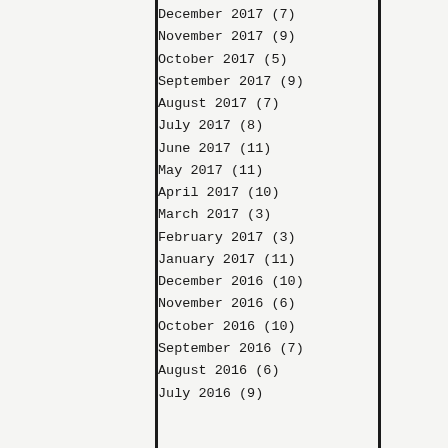December 2017 (7)
November 2017 (9)
October 2017 (5)
September 2017 (9)
August 2017 (7)
July 2017 (8)
June 2017 (11)
May 2017 (11)
April 2017 (10)
March 2017 (3)
February 2017 (3)
January 2017 (11)
December 2016 (10)
November 2016 (6)
October 2016 (10)
September 2016 (7)
August 2016 (6)
July 2016 (9)